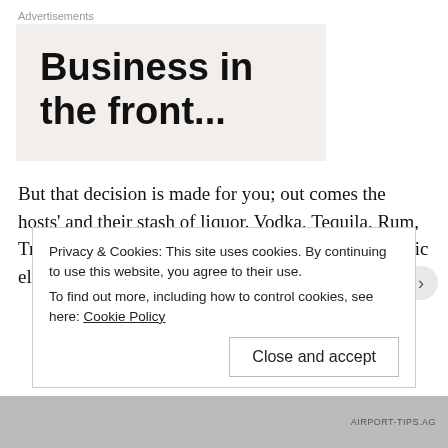[Figure (other): Advertisement box with text 'Business in the front...' on a light beige background, labeled 'Advertisements']
But that decision is made for you; out comes the hosts' and their stash of liquor. Vodka, Tequila, Rum, Triple Sec & plenty of other obscure, highly alcoholic elixirs that do not look healthy at all...
Privacy & Cookies: This site uses cookies. By continuing to use this website, you agree to their use.
To find out more, including how to control cookies, see here: Cookie Policy
Close and accept